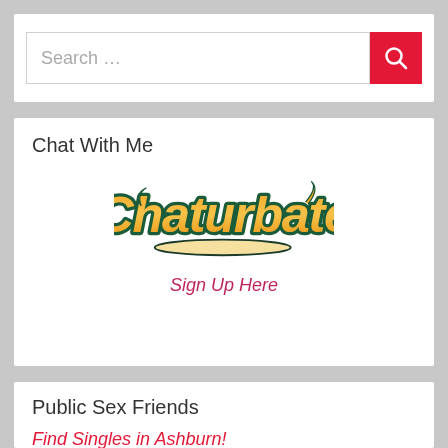[Figure (screenshot): Search bar with red search button containing a magnifying glass icon]
Chat With Me
[Figure (logo): Chaturbate logo - orange cursive text with teal outline on white background]
Sign Up Here
Public Sex Friends
Find Singles in Ashburn!